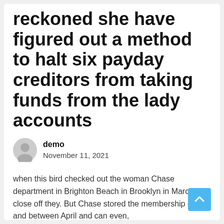reckoned she have figured out a method to halt six payday creditors from taking funds from the lady accounts
demo
November 11, 2021
when this bird checked out the woman Chase department in Brighton Beach in Brooklyn in March to close off they. But Chase stored the membership open and between April and can even,